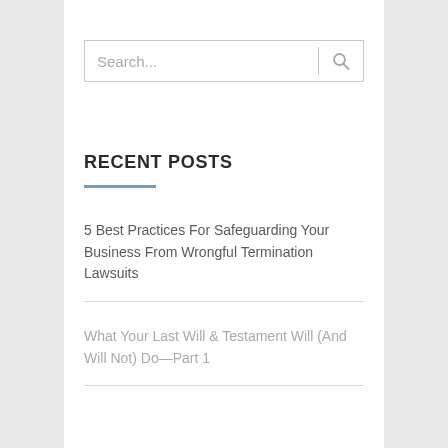[Figure (other): Search input box with magnifying glass icon]
RECENT POSTS
5 Best Practices For Safeguarding Your Business From Wrongful Termination Lawsuits
What Your Last Will & Testament Will (And Will Not) Do—Part 1